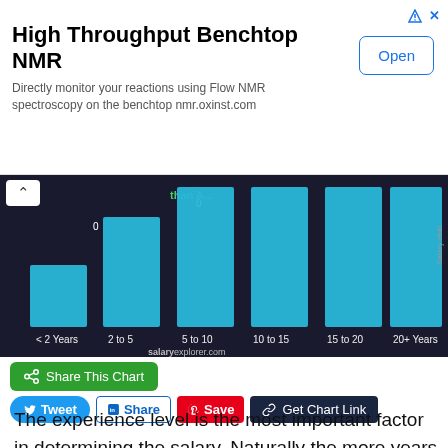[Figure (other): Advertisement banner for High Throughput Benchtop NMR by Oxford Instruments. Title: 'High Throughput Benchtop NMR'. Subtitle: 'Directly monitor your reactions using Flow NMR spectroscopy on the benchtop nmr.oxinst.com'. Open button on the right.]
[Figure (bar-chart): 3D bar chart showing salary by years of experience. Bars are blue. Categories on x-axis. Source: salaryexplorer.com]
[Figure (other): Social sharing buttons: Share This Chart (green), Tweet (blue), Share on LinkedIn (white/blue), Save on Pinterest (red), Get Chart Link (dark navy).]
The experience level is the most important factor in determining the salary. Naturally the more years of experience the higher your wage. We broke down Media Production Manager salaries by experience